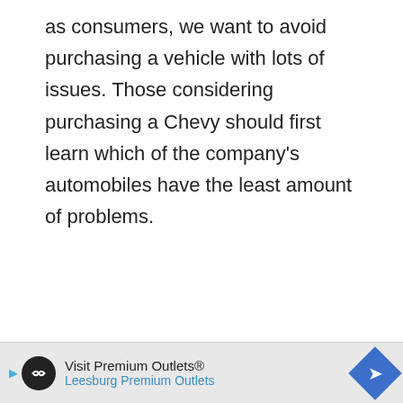as consumers, we want to avoid purchasing a vehicle with lots of issues. Those considering purchasing a Chevy should first learn which of the company's automobiles have the least amount of problems.
LATEST VIDEOS
[Figure (screenshot): Video player with black background showing title 'Which Midsize SUV has the Be...' and a play button triangle in the center]
[Figure (other): Advertisement banner: 'Visit Premium Outlets® Leesburg Premium Outlets' with circular logo and navigation arrow icon]